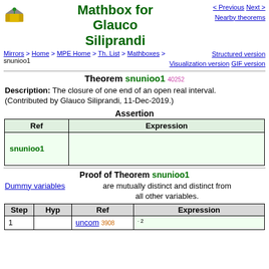Mathbox for Glauco Siliprandi
Mirrors > Home > MPE Home > Th. List > Mathboxes > snunioo1  |  Structured version  Visualization version  GIF version
Theorem snunioo1 40252
Description: The closure of one end of an open real interval. (Contributed by Glauco Siliprandi, 11-Dec-2019.)
Assertion
| Ref | Expression |
| --- | --- |
| snunioo1 |  |
Proof of Theorem snunioo1
Dummy variables are mutually distinct and distinct from all other variables.
| Step | Hyp | Ref | Expression |
| --- | --- | --- | --- |
| 1 |  | uncom 3908 | ·2 |